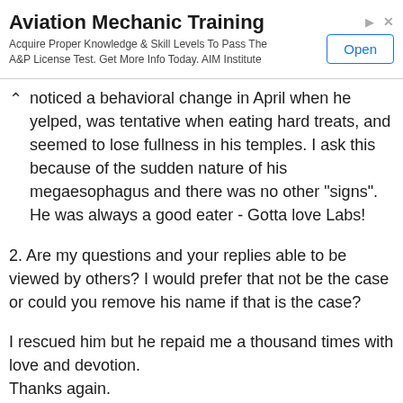[Figure (other): Advertisement banner for Aviation Mechanic Training by AIM Institute with an Open button]
noticed a behavioral change in April when he yelped, was tentative when eating hard treats, and seemed to lose fullness in his temples. I ask this because of the sudden nature of his megaesophagus and there was no other "signs". He was always a good eater - Gotta love Labs!
2. Are my questions and your replies able to be viewed by others? I would prefer that not be the case or could you remove his name if that is the case?
I rescued him but he repaid me a thousand times with love and devotion.
Thanks again.